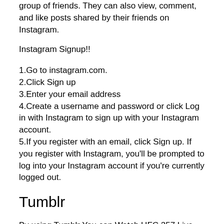group of friends. They can also view, comment, and like posts shared by their friends on Instagram.
Instagram Signup!!
1.Go to instagram.com.
2.Click Sign up
3.Enter your email address
4.Create a username and password or click Log in with Instagram to sign up with your Instagram account.
5.If you register with an email, click Sign up. If you register with Instagram, you'll be prompted to log into your Instagram account if you're currently logged out.
Tumblr
By using Tumblr You can Watch UFC 257 Live Stream. Tumblr is an American microblogging and social networking website founded by David Karp in 2007 and currently owned by Automatics. The service allows users to post multimedia